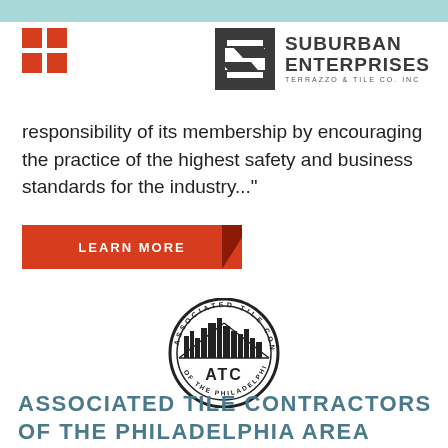[Figure (logo): Suburban Enterprises Terrazzo & Tile Co. Inc. logo with red dot grid and stylized SE mark]
responsibility of its membership by encouraging the practice of the highest safety and business standards for the industry..."
[Figure (other): Red LEARN MORE button with dark diagonal accent]
[Figure (logo): Associated Tile Contractors of the Philadelphia Area circular emblem with city skyline and ATC text]
ASSOCIATED TILE CONTRACTORS OF THE PHILADELPHIA AREA